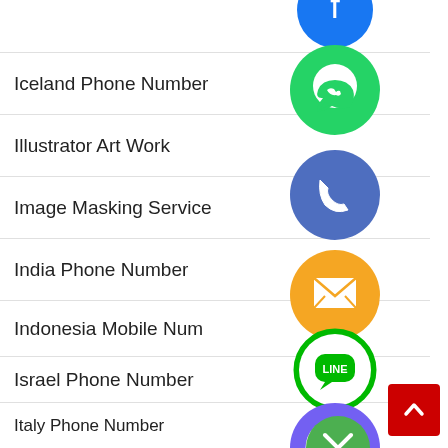Iceland Phone Number
Illustrator Art Work
Image Masking Service
India Phone Number
Indonesia Mobile Number
Israel Phone Number
Italy Phone Number
Ivory Coast Phone Number
[Figure (illustration): Column of social media / messaging app icons (WhatsApp green, phone blue, email orange, LINE green, Viber purple, close green) overlapping list items on the right side, plus a red scroll-to-top button at bottom right.]